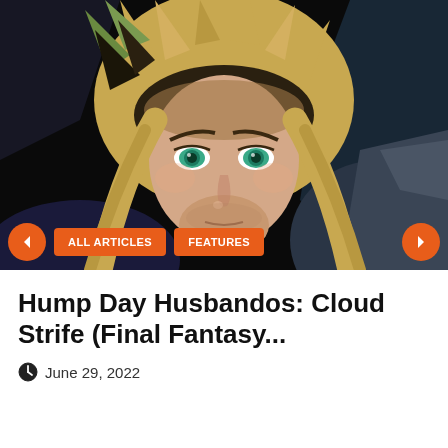[Figure (illustration): Close-up illustration of Cloud Strife from Final Fantasy, showing his face with spiky blonde hair with green tint, intense teal eyes, and dark background. Navigation buttons and category tags overlaid at the bottom.]
Hump Day Husbandos: Cloud Strife (Final Fantasy...
June 29, 2022